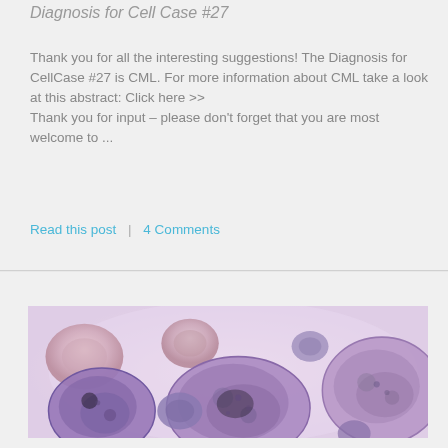Diagnosis for Cell Case #27
Thank you for all the interesting suggestions! The Diagnosis for CellCase #27 is CML. For more information about CML take a look at this abstract: Click here >>
Thank you for input – please don't forget that you are most welcome to ...
Read this post  |  4 Comments
[Figure (photo): Microscopy image of blood cells stained with purple/violet dye showing large lymphocyte-like cells and red blood cells, consistent with CML (Chronic Myeloid Leukemia) blood smear]